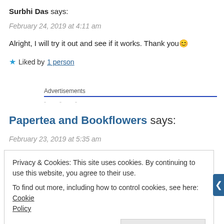Surbhi Das says:
February 24, 2019 at 4:11 am
Alright, I will try it out and see if it works. Thank you 😊
★ Liked by 1 person
Advertisements
Papertea and Bookflowers says:
February 23, 2019 at 5:35 am
Privacy & Cookies: This site uses cookies. By continuing to use this website, you agree to their use. To find out more, including how to control cookies, see here: Cookie Policy
Close and accept